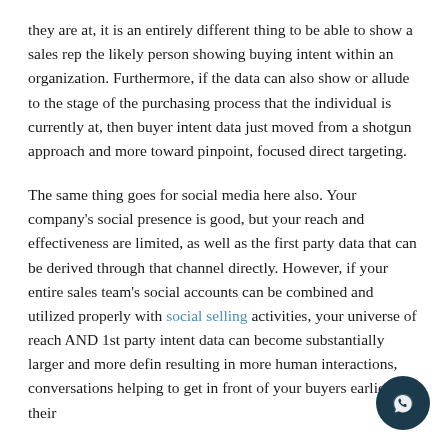they are at, it is an entirely different thing to be able to show a sales rep the likely person showing buying intent within an organization. Furthermore, if the data can also show or allude to the stage of the purchasing process that the individual is currently at, then buyer intent data just moved from a shotgun approach and more toward pinpoint, focused direct targeting.
The same thing goes for social media here also. Your company's social presence is good, but your reach and effectiveness are limited, as well as the first party data that can be derived through that channel directly. However, if your entire sales team's social accounts can be combined and utilized properly with social selling activities, your universe of reach AND 1st party intent data can become substantially larger and more defined, resulting in more human interactions, conversations helping to get in front of your buyers earlier in their